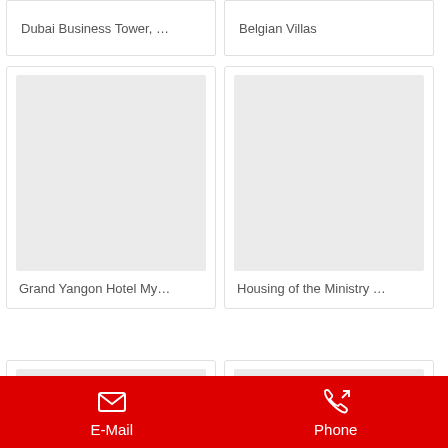Dubai Business Tower, …
Belgian Villas
[Figure (photo): Placeholder image for Grand Yangon Hotel My...]
Grand Yangon Hotel My…
[Figure (photo): Placeholder image for Housing of the Ministry …]
Housing of the Ministry …
[Figure (photo): Placeholder image bottom-left card]
[Figure (photo): Placeholder image bottom-right card]
E-Mail   Phone